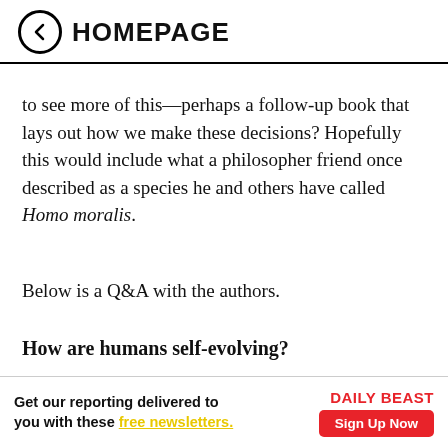HOMEPAGE
to see more of this—perhaps a follow-up book that lays out how we make these decisions? Hopefully this would include what a philosopher friend once described as a species he and others have called Homo moralis.
Below is a Q&A with the authors.
How are humans self-evolving?
Juan Enriquez: We've gone from being a majority rural species to being a majority urban species in less than a century. You would expect that there would be a substantial change not only in our species, but also in every species that lives around us. We are seeing that in animals both domestic and wild going obese, in more allerg... eve
[Figure (infographic): Advertisement banner: 'Get our reporting delivered to you with these free newsletters.' with Daily Beast logo and Sign Up Now button]